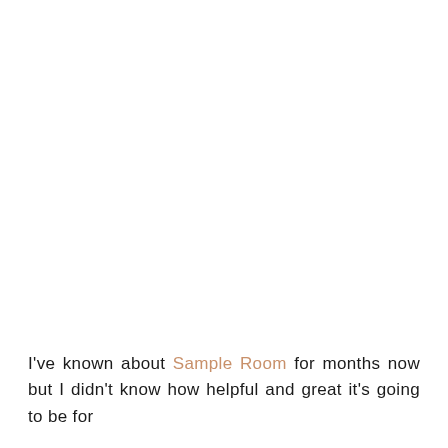I've known about Sample Room for months now but I didn't know how helpful and great it's going to be for